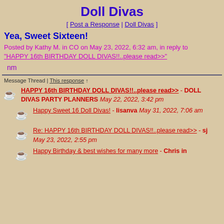Doll Divas
[ Post a Response | Doll Divas ]
Yea, Sweet Sixteen!
Posted by Kathy M. in CO on May 23, 2022, 6:32 am, in reply to "HAPPY 16th BIRTHDAY DOLL DIVAS!!..please read>>"
nm
Message Thread | This response ↑
HAPPY 16th BIRTHDAY DOLL DIVAS!!..please read>> - DOLL DIVAS PARTY PLANNERS May 22, 2022, 3:42 pm
Happy Sweet 16 Doll Divas! - lisanva May 31, 2022, 7:06 am
Re: HAPPY 16th BIRTHDAY DOLL DIVAS!!..please read>> - sj May 23, 2022, 2:55 pm
Happy Birthday & best wishes for many more - Chris in Michigan May 23, 2022, 7:46 am